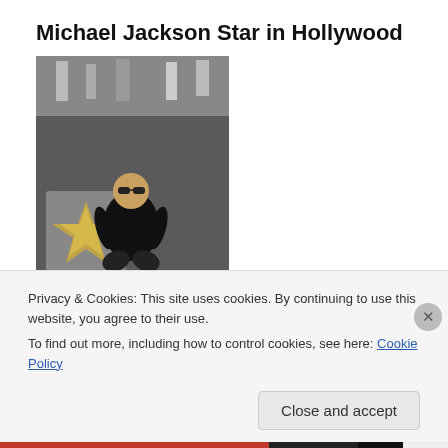Michael Jackson Star in Hollywood
[Figure (photo): Man crouching on Hollywood Walk of Fame star]
My cat Eldrick...
[Figure (photo): Dark blurry photo of a cat]
Privacy & Cookies: This site uses cookies. By continuing to use this website, you agree to their use.
To find out more, including how to control cookies, see here: Cookie Policy
Close and accept